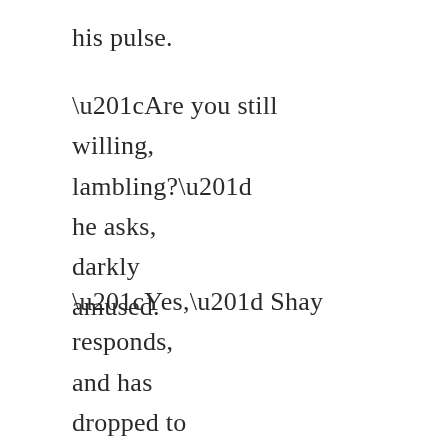his pulse.
“Are you still willing, lambling?” he asks, darkly amused.
“Yes,” Shay responds, and has dropped to his knees on the marble